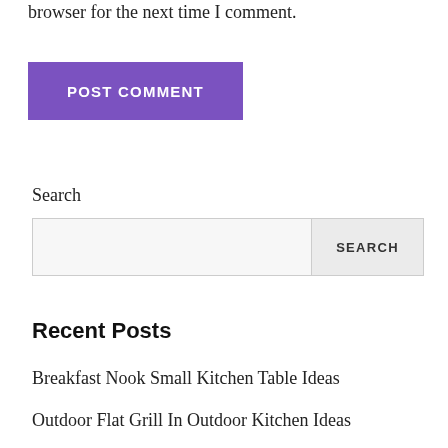browser for the next time I comment.
[Figure (other): Purple 'POST COMMENT' button]
Search
[Figure (other): Search input field with SEARCH button]
Recent Posts
Breakfast Nook Small Kitchen Table Ideas
Outdoor Flat Grill In Outdoor Kitchen Ideas